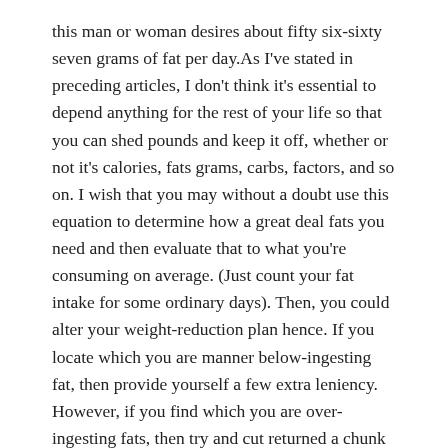this man or woman desires about fifty six-sixty seven grams of fat per day.As I've stated in preceding articles, I don't think it's essential to depend anything for the rest of your life so that you can shed pounds and keep it off, whether or not it's calories, fats grams, carbs, factors, and so on. I wish that you may without a doubt use this equation to determine how a great deal fats you need and then evaluate that to what you're consuming on average. (Just count your fat intake for some ordinary days). Then, you could alter your weight-reduction plan hence. If you locate which you are manner below-ingesting fat, then provide yourself a few extra leniency. However, if you find which you are over-ingesting fats, then try and cut returned a chunk extra until you're in a wholesome range.
Tags: make anime art commissions digital only